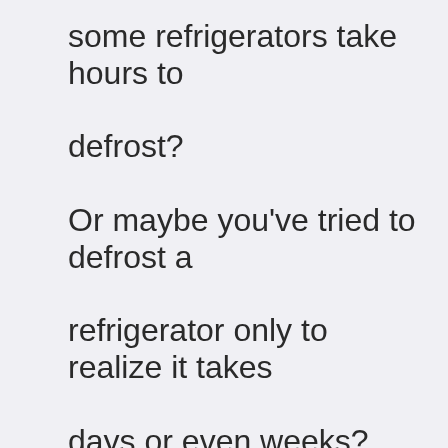some refrigerators take hours to defrost? Or maybe you've tried to defrost a refrigerator only to realize it takes days or even weeks? Well, it turns out that defrosting a refrigerator isn't quite as simple as it seems. A refrigerator is a device that...